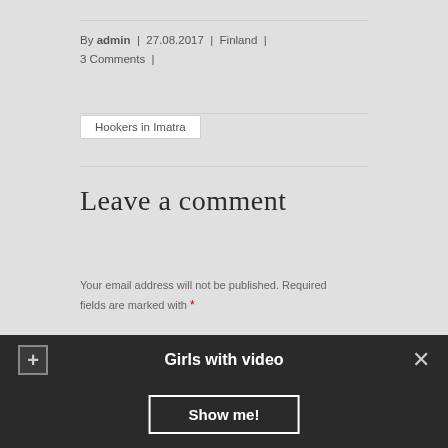By admin | 27.08.2017 | Finland | 3 Comments |
Hookers in Imatra
Leave a comment
Your email address will not be published. Required fields are marked with *
Comment
Girls with video
Show me!